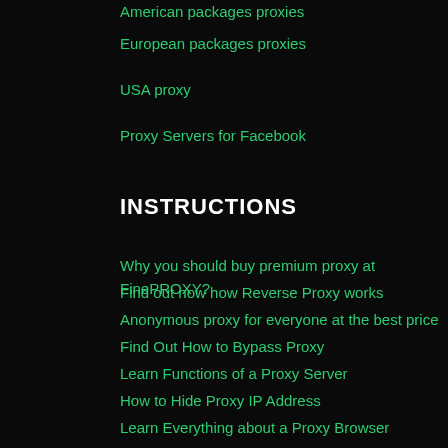American packages proxies
European packages proxies
USA proxy
Proxy Servers for Facebook
INSTRUCTIONS
Why you should buy premium proxy at FinePROXY?
Find out now how Reverse Proxy works
Anonymous proxy for everyone at the best price
Find Out How to Bypass Proxy
Learn Functions of a Proxy Server
How to Hide Proxy IP Address
Learn Everything about a Proxy Browser
Learn now how proxy firewall works in general
What to Do if You are Banned From a Site
CONTACTS
+ 1 646 328-50-65